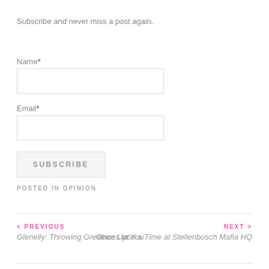Subscribe and never miss a post again.
Name*
Email*
SUBSCRIBE
POSTED IN OPINION
< PREVIOUS
Glenelly: Throwing Greatness at You
NEXT >
Once Upon a Time at Stellenbosch Mafia HQ